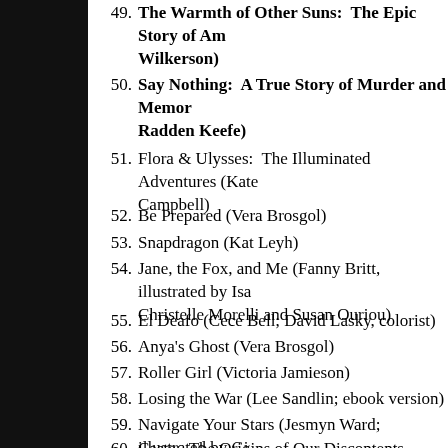49. The Warmth of Other Suns:  The Epic Story of America's Great Migration (Isabel Wilkerson)
50. Say Nothing:  A True Story of Murder and Memory in Northern Ireland (Patrick Radden Keefe)
51. Flora & Ulysses:  The Illuminated Adventures (Kate DiCamillo; illustrated by K. G. Campbell)
52. Be Prepared (Vera Brosgol)
53. Snapdragon (Kat Leyh)
54. Jane, the Fox, and Me (Fanny Britt, illustrated by Isabelle Arsenault; translated by Christelle Morelli and Susan Ouriou)
55. El Deafo (Cece Bell; David Lasky, colorist)
56. Anya's Ghost (Vera Brosgol)
57. Roller Girl (Victoria Jamieson)
58. Losing the War (Lee Sandlin; ebook version)
59. Navigate Your Stars (Jesmyn Ward; illustrated by Gina Triplett)
60. Caste:  The Origins of Our Discontents (Isabel Wilkerson)
61. Becoming Duchess Goldblatt:  A Memoir (Anonymous)
62. Everything You Wanted to Know About Indians But Were Afraid to Ask (Anton Treuer)
63. Essex County, Volume 1:  Tales from the Farm (Jeff Lemire)